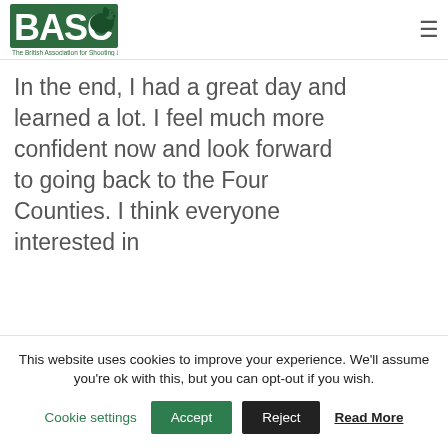BASC - The British Association for Shooting & Conservation
In the end, I had a great day and learned a lot. I feel much more confident now and look forward to going back to the Four Counties. I think everyone interested in
This website uses cookies to improve your experience. We'll assume you're ok with this, but you can opt-out if you wish.
Cookie settings  Accept  Reject  Read More